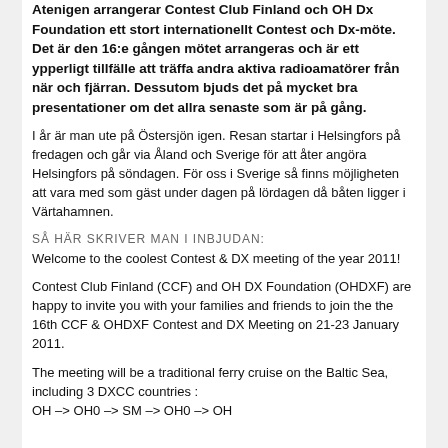Atenigen arrangerar Contest Club Finland och OH Dx Foundation ett stort internationellt Contest och Dx-möte. Det är den 16:e gången mötet arrangeras och är ett ypperligt tillfälle att träffa andra aktiva radioamatörer från när och fjärran. Dessutom bjuds det på mycket bra presentationer om det allra senaste som är på gång.
I år är man ute på Östersjön igen. Resan startar i Helsingfors på fredagen och går via Åland och Sverige för att åter angöra Helsingfors på söndagen. För oss i Sverige så finns möjligheten att vara med som gäst under dagen på lördagen då båten ligger i Värtahamnen.
SÅ HÄR SKRIVER MAN I INBJUDAN:
Welcome to the coolest Contest & DX meeting of the year 2011!
Contest Club Finland (CCF) and OH DX Foundation (OHDXF) are happy to invite you with your families and friends to join the the 16th CCF & OHDXF Contest and DX Meeting on 21-23 January 2011.
The meeting will be a traditional ferry cruise on the Baltic Sea, including 3 DXCC countries :
OH –> OH0 –> SM –> OH0 –> OH